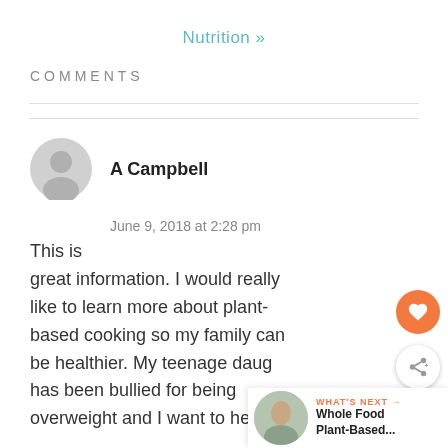Nutrition »
COMMENTS
A Campbell
June 9, 2018 at 2:28 pm
This is great information. I would really like to learn more about plant-based cooking so my family can be healthier. My teenage daug has been bullied for being overweight and I want to help her